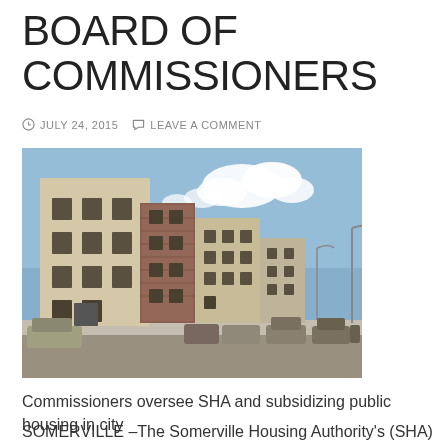BOARD OF COMMISSIONERS
JULY 24, 2015   LEAVE A COMMENT
[Figure (photo): Street-level photo of multi-story public housing apartment buildings in Somerville, with beige and brick facades, blue sky with clouds, and parked cars on the street]
Commissioners oversee SHA and subsidizing public housing in city
SOMERVILLE –The Somerville Housing Authority's (SHA) Board of Commissioners has a vacancy, and residents are